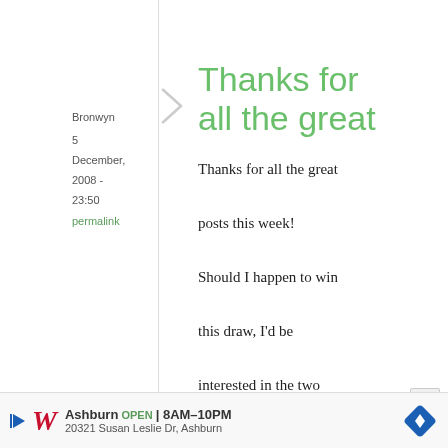Bronwyn
5 December, 2008 - 23:50
permalink
Thanks for all the great
Thanks for all the great posts this week! Should I happen to win this draw, I'd be interested in the two Japanese cook books (both on my Amazon
[Figure (infographic): Advertisement banner for Walgreens: Ashburn OPEN 8AM-10PM, 20321 Susan Leslie Dr, Ashburn]